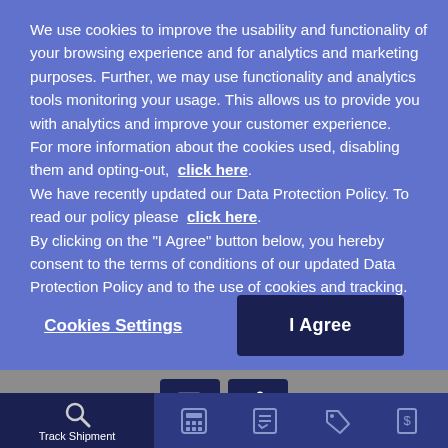We use cookies to improve the usability and functionality of your browsing experience and for analytics and marketing purposes. Further, we may use functionality and analytics tools monitoring your usage. This allows us to provide you with analytics and improve your customer experience. For more information about the cookies used, disabling them and opting-out,  click here. We have recently updated our Data Protection Policy. To read our policy please  click here. By clicking on the "I Agree" button below, you hereby consent to the terms of conditions of our updated Data Protection Policy and to the use of cookies and tracking.
Cookies Settings
I Agree
[Figure (screenshot): Gray toolbar with two dark navy icon buttons: a smiley face chat icon and a wheelchair accessibility icon]
[Figure (screenshot): Bottom navigation bar with dark navy left section showing a magnifying glass search icon and 'Track Shipment' label, and a blue-purple right section showing four nav icons (calculator, checklist, tag/price, receipt/dollar)]